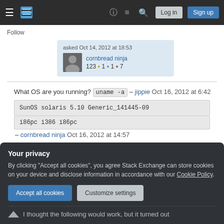Stack Exchange navigation bar with Log in and Sign up buttons
Follow
asked Oct 14, 2012 at 18:53
cornbread ninja
123 ● 1 ● 1 ● 7
What OS are you running? uname -a – jippie Oct 16, 2012 at 6:42
SunOS solaris 5.10 Generic_141445-09 i86pc i386 i86pc – cornbread ninja Oct 16, 2012 at 14:57
Your privacy
By clicking "Accept all cookies", you agree Stack Exchange can store cookies on your device and disclose information in accordance with our Cookie Policy.
Accept all cookies  Customize settings
I thought the following would work, but it turned out